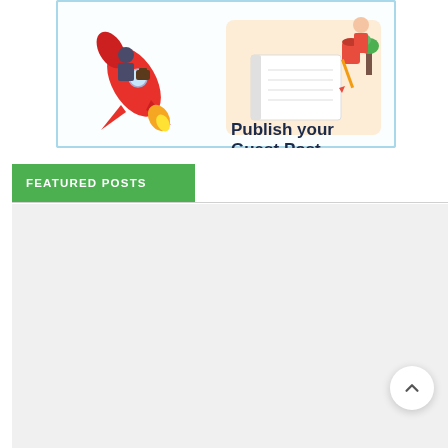[Figure (illustration): Banner advertisement showing a cartoon rocket with a businessperson riding it on the left side, and a desk scene with a person writing on a notebook on the right side. Text reads 'Publish your Guest Post' in bold dark blue letters. Banner has a light blue border.]
FEATURED POSTS
[Figure (other): Large light gray rectangular content card area below the Featured Posts tab, representing a featured posts section. A white circular scroll-to-top button with an upward chevron arrow is visible in the lower right.]